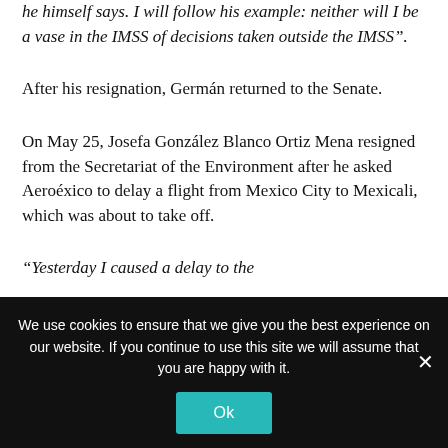he himself says. I will follow his example: neither will I be a vase in the IMSS of decisions taken outside the IMSS”.
After his resignation, Germán returned to the Senate.
On May 25, Josefa González Blanco Ortiz Mena resigned from the Secretariat of the Environment after he asked Aeroмéxico to delay a flight from Mexico City to Mexicali, which was about to take off.
“Yesterday I caused a delay to the
We use cookies to ensure that we give you the best experience on our website. If you continue to use this site we will assume that you are happy with it.